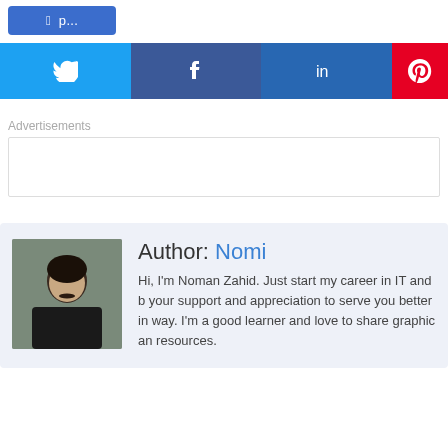[Figure (other): Blue button (partially visible at top)]
[Figure (other): Social share buttons: Twitter (blue), Facebook (blue), LinkedIn (dark blue), Pinterest (red) with respective icons]
Advertisements
[Figure (other): Advertisement box (empty, white with border)]
Author: Nomi
Hi, I'm Noman Zahid. Just start my career in IT and b... your support and appreciation to serve you better in... way. I'm a good learner and love to share graphic an... resources.